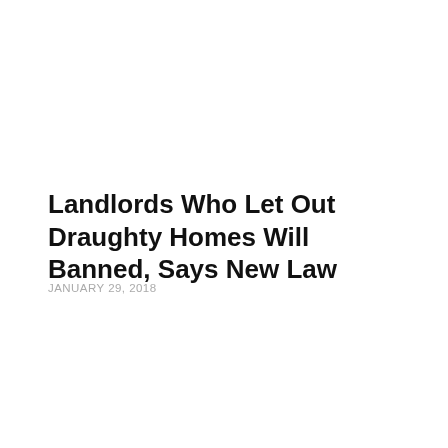Landlords Who Let Out Draughty Homes Will Banned, Says New Law
JANUARY 29, 2018